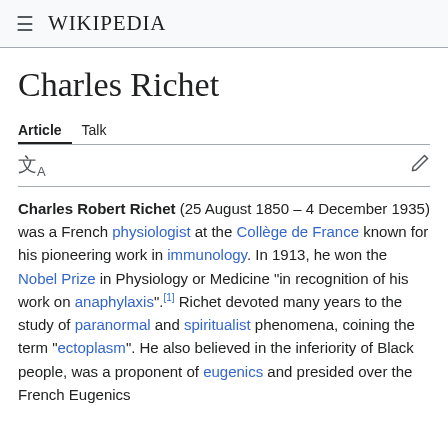Wikipedia
Charles Richet
Article  Talk
Charles Robert Richet (25 August 1850 – 4 December 1935) was a French physiologist at the Collège de France known for his pioneering work in immunology. In 1913, he won the Nobel Prize in Physiology or Medicine "in recognition of his work on anaphylaxis".[1] Richet devoted many years to the study of paranormal and spiritualist phenomena, coining the term "ectoplasm". He also believed in the inferiority of Black people, was a proponent of eugenics and presided over the French Eugenics